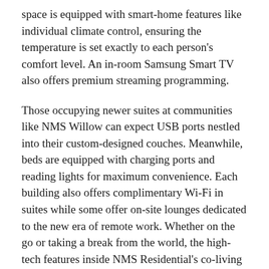space is equipped with smart-home features like individual climate control, ensuring the temperature is set exactly to each person's comfort level. An in-room Samsung Smart TV also offers premium streaming programming.
Those occupying newer suites at communities like NMS Willow can expect USB ports nestled into their custom-designed couches. Meanwhile, beds are equipped with charging ports and reading lights for maximum convenience. Each building also offers complimentary Wi-Fi in suites while some offer on-site lounges dedicated to the new era of remote work. Whether on the go or taking a break from the world, the high-tech features inside NMS Residential's co-living spaces are designed to offer greater peace of mind.
Appealing to a variety of renters like students and those in the entertainment industry, co-living offers short-term lease options with turnkey flexibility. Nestled in sought-